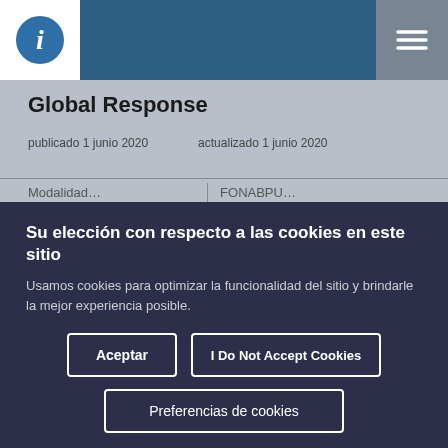[Figure (logo): Navigation bar with logo icon (blue circle with 'i') and hamburger menu icon on the right]
Global Response
publicado 1 junio 2020    actualizado 1 junio 2020
Su elección con respecto a las cookies en este sitio
Usamos cookies para optimizar la funcionalidad del sitio y brindarle la mejor experiencia posible.
Aceptar
I Do Not Accept Cookies
Preferencias de cookies